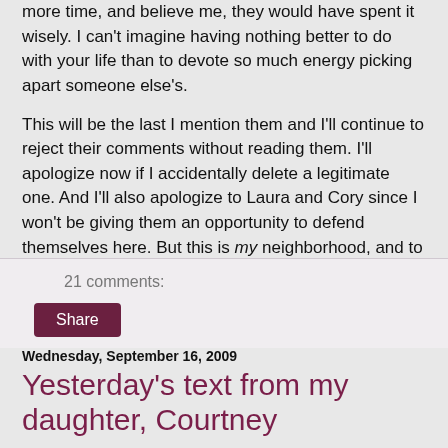more time, and believe me, they would have spent it wisely. I can't imagine having nothing better to do with your life than to devote so much energy picking apart someone else's.
This will be the last I mention them and I'll continue to reject their comments without reading them. I'll apologize now if I accidentally delete a legitimate one. And I'll also apologize to Laura and Cory since I won't be giving them an opportunity to defend themselves here. But this is my neighborhood, and to use a line from my childhood, "Stay off-a my property!"
21 comments:
Share
Wednesday, September 16, 2009
Yesterday's text from my daughter, Courtney
jimmy carter's not dead!!! you learn something new everyday!